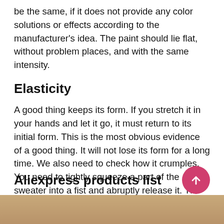be the same, if it does not provide any color solutions or effects according to the manufacturer's idea. The paint should lie flat, without problem places, and with the same intensity.
Elasticity
A good thing keeps its form. If you stretch it in your hands and let it go, it must return to its initial form. This is the most obvious evidence of a good thing. It will not lose its form for a long time. We also need to check how it crumples. You need to tightly squeeze a part of the sweater into a fist and abruptly release it. The remaining creases are a sign that the clothes have poor quality.
Aliexpress products list
[Figure (photo): Bottom portion of a product image, showing warm brown/tan tones]